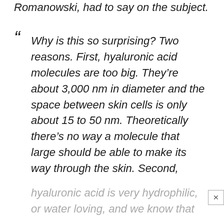Romanowski, had to say on the subject.
“ Why is this so surprising? Two reasons. First, hyaluronic acid molecules are too big. They’re about 3,000 nm in diameter and the space between skin cells is only about 15 to 50 nm. Theoretically there’s no way a molecule that large should be able to make its way through the skin. Second, hyaluronic acid is very hydrophilic, or water loving, and we know that